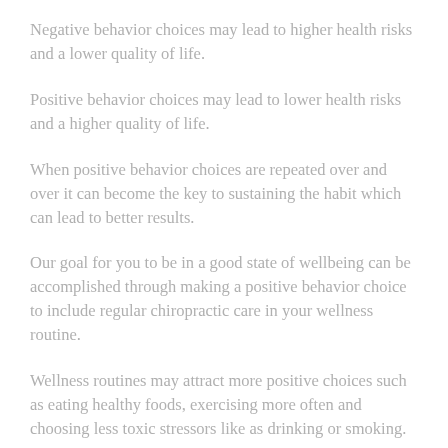Negative behavior choices may lead to higher health risks and a lower quality of life.
Positive behavior choices may lead to lower health risks and a higher quality of life.
When positive behavior choices are repeated over and over it can become the key to sustaining the habit which can lead to better results.
Our goal for you to be in a good state of wellbeing can be accomplished through making a positive behavior choice to include regular chiropractic care in your wellness routine.
Wellness routines may attract more positive choices such as eating healthy foods, exercising more often and choosing less toxic stressors like as drinking or smoking.